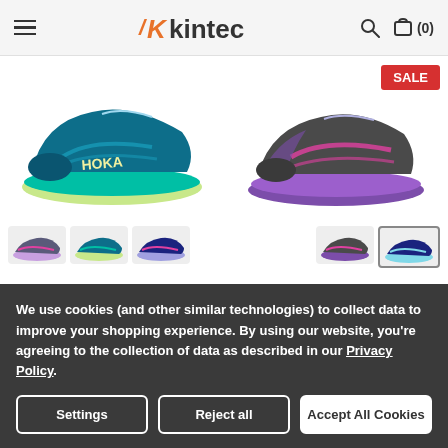kintec — hamburger menu, search, cart (0)
[Figure (photo): Teal/yellow HOKA trail running shoe (main product image, left side)]
[Figure (photo): Grey/purple HOKA running shoe with SALE badge (main product image, right side)]
[Figure (photo): Three thumbnail color variants of left shoe]
[Figure (photo): Two thumbnail color variants of right shoe]
We use cookies (and other similar technologies) to collect data to improve your shopping experience. By using our website, you're agreeing to the collection of data as described in our Privacy Policy.
Settings
Reject all
Accept All Cookies